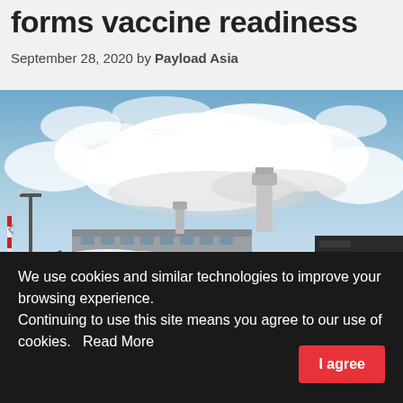forms vaccine readiness group
September 28, 2020 by Payload Asia
[Figure (photo): Airport tarmac scene showing KLM, TUI, and Delta aircraft parked at terminals with a control tower in the background under a partly cloudy sky. Schiphol Airport.]
We use cookies and similar technologies to improve your browsing experience.
Continuing to use this site means you agree to our use of cookies.   Read More